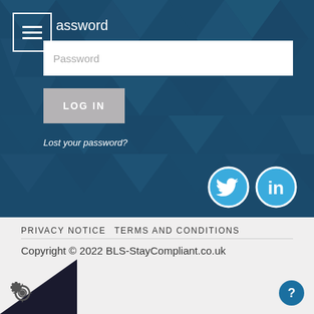[Figure (screenshot): Dark teal geometric background with triangular pattern forming the top section of a login page]
Password
Password (input field placeholder)
LOG IN
Lost your password?
[Figure (logo): Twitter bird icon in a blue circle with white border]
[Figure (logo): LinkedIn 'in' icon in a blue circle with white border]
PRIVACY NOTICE  TERMS AND CONDITIONS
Copyright © 2022 BLS-StayCompliant.co.uk